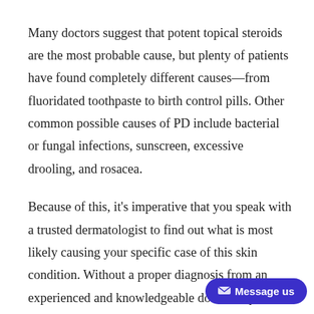Many doctors suggest that potent topical steroids are the most probable cause, but plenty of patients have found completely different causes—from fluoridated toothpaste to birth control pills. Other common possible causes of PD include bacterial or fungal infections, sunscreen, excessive drooling, and rosacea.
Because of this, it's imperative that you speak with a trusted dermatologist to find out what is most likely causing your specific case of this skin condition. Without a proper diagnosis from an experienced and knowledgeable doctor, any random perioral dermatitis treatment you decide on by yourself could be ineffective or even harmful for your s…